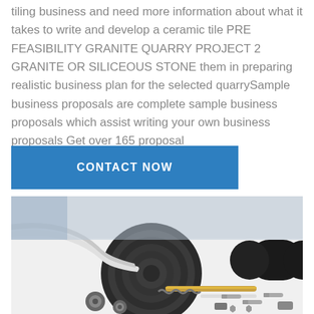tiling business and need more information about what it takes to write and develop a ceramic tile PRE FEASIBILITY GRANITE QUARRY PROJECT 2 GRANITE OR SILICEOUS STONE them in preparing realistic business plan for the selected quarrySample business proposals are complete sample business proposals which assist writing your own business proposals Get over 165 proposal
CONTACT NOW
[Figure (photo): Photo of industrial machinery parts including a rolled rubber conveyor belt, metal rods, gears, bolts, and mechanical components arranged on a white surface.]